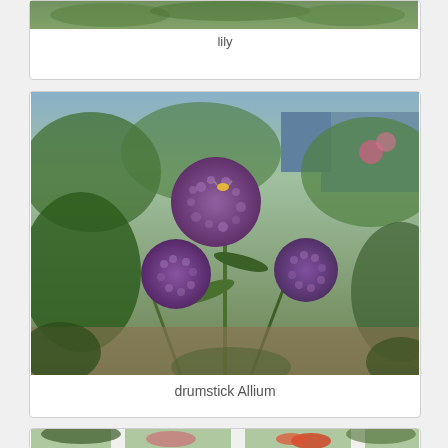[Figure (photo): Partial view of a lily plant, cropped at top of frame]
lily
[Figure (photo): Drumstick Allium plants with round purple flower heads in a garden setting, with green foliage and a blue house in the background]
drumstick Allium
[Figure (photo): Garden scene with red and pink flowers visible through white fence posts]